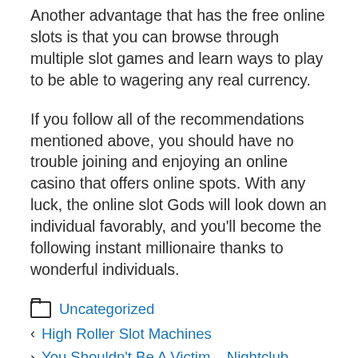Another advantage that has the free online slots is that you can browse through multiple slot games and learn ways to play to be able to wagering any real currency.
If you follow all of the recommendations mentioned above, you should have no trouble joining and enjoying an online casino that offers online spots. With any luck, the online slot Gods will look down an individual favorably, and you'll become the following instant millionaire thanks to wonderful individuals.
Uncategorized
< High Roller Slot Machines
> You Shouldn't Be A Victim – Nightclub